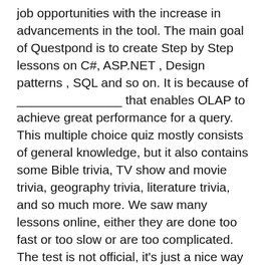job opportunities with the increase in advancements in the tool. The main goal of Questpond is to create Step by Step lessons on C#, ASP.NET , Design patterns , SQL and so on. It is because of _______________ that enables OLAP to achieve great performance for a query. This multiple choice quiz mostly consists of general knowledge, but it also contains some Bible trivia, TV show and movie trivia, geography trivia, literature trivia, and so much more. We saw many lessons online, either they are done too fast or too slow or are too complicated. The test is not official, it's just a nice way to see how much you know, or don't know, about SQL. TOP 100 MSBI Interview Questions and Answers, Real Time MSBI Questions from Experts, Job Interview Point of MSBI Questions, MSBI Online Quiz Questions, … Enroll now for best Microsoft BI Course. Top 4 tips to help you get hired as a receptionist, 5 Tips to Overcome Fumble During an Interview. MSBI being the most efficient business